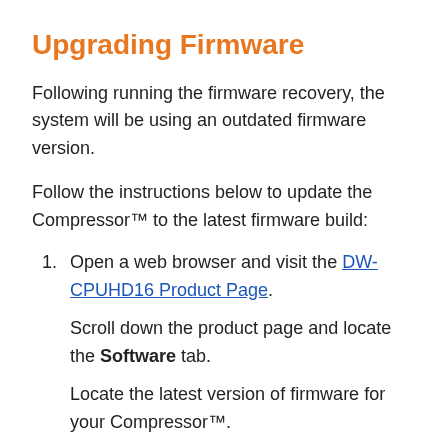Upgrading Firmware
Following running the firmware recovery, the system will be using an outdated firmware version.
Follow the instructions below to update the Compressor™ to the latest firmware build:
Open a web browser and visit the DW-CPUHD16 Product Page.
Scroll down the product page and locate the Software tab.
Locate the latest version of firmware for your Compressor™.
Click the Download button to download the firmware update.